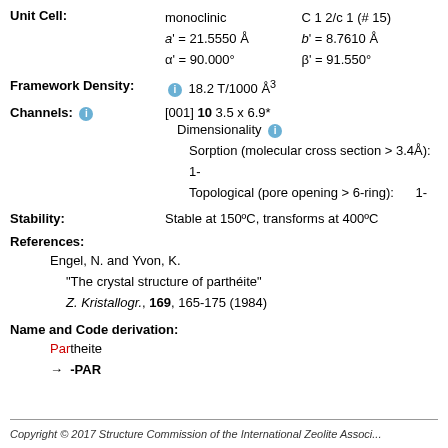Unit Cell: monoclinic C 1 2/c 1 (# 15) a' = 21.5550 Å b' = 8.7610 Å α' = 90.000° β' = 91.550°
Framework Density: 18.2 T/1000 Å³
Channels: [001] 10 3.5 x 6.9* Dimensionality Sorption (molecular cross section > 3.4Å): 1- Topological (pore opening > 6-ring): 1-
Stability: Stable at 150ºC, transforms at 400ºC
References:
Engel, N. and Yvon, K.
"The crystal structure of parthéite"
Z. Kristallogr., 169, 165-175 (1984)
Name and Code derivation:
Partheite → -PAR
Copyright © 2017 Structure Commission of the International Zeolite Associ...